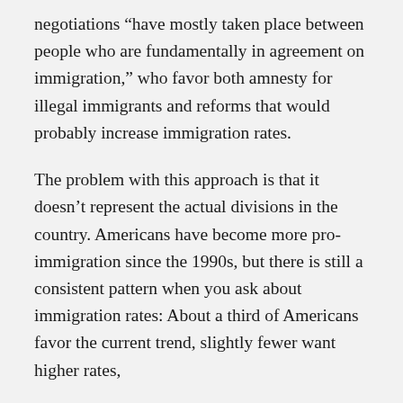negotiations “have mostly taken place between people who are fundamentally in agreement on immigration,” who favor both amnesty for illegal immigrants and reforms that would probably increase immigration rates.
The problem with this approach is that it doesn’t represent the actual divisions in the country. Americans have become more pro-immigration since the 1990s, but there is still a consistent pattern when you ask about immigration rates: About a third of Americans favor the current trend, slightly fewer want higher rates,